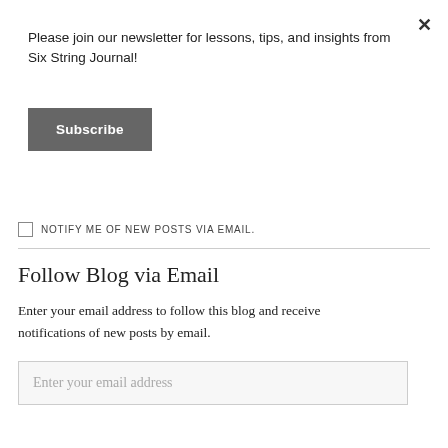×
Please join our newsletter for lessons, tips, and insights from Six String Journal!
Subscribe
NOTIFY ME OF NEW POSTS VIA EMAIL.
Follow Blog via Email
Enter your email address to follow this blog and receive notifications of new posts by email.
Enter your email address